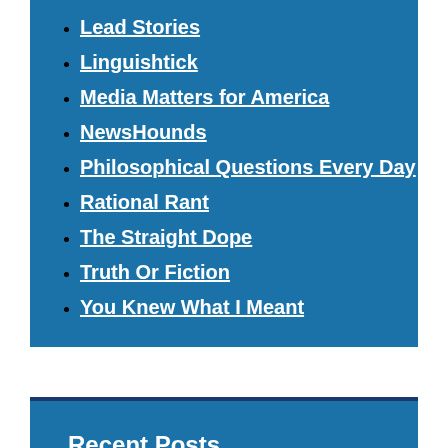Lead Stories
Linguishtick
Media Matters for America
NewsHounds
Philosophical Questions Every Day
Rational Rant
The Straight Dope
Truth Or Fiction
You Knew What I Meant
Recent Posts
The Mar-A-Lago Spin Machine
How to Make a Right-Wing “Documentary”